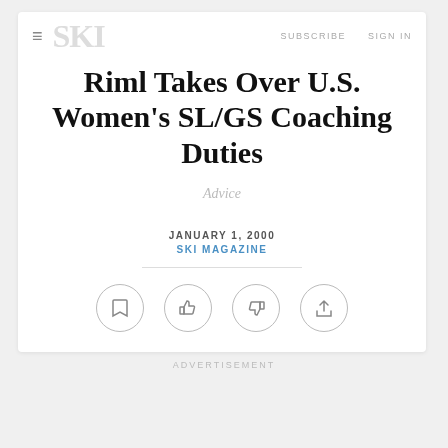SKI | Riml Takes Over U.S. Women's SL/GS Coaching Duties — SIGN IN
Riml Takes Over U.S. Women's SL/GS Coaching Duties
Advice
JANUARY 1, 2000
SKI MAGAZINE
[Figure (infographic): Four circular icon buttons: bookmark, thumbs up, thumbs down, share]
ADVERTISEMENT